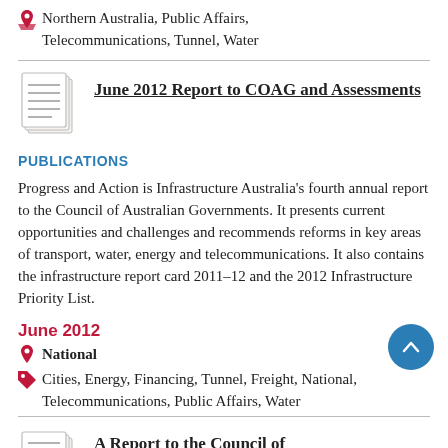Northern Australia, Public Affairs, Telecommunications, Tunnel, Water
[Figure (illustration): Document icon (stacked pages)]
June 2012 Report to COAG and Assessments
PUBLICATIONS
Progress and Action is Infrastructure Australia's fourth annual report to the Council of Australian Governments. It presents current opportunities and challenges and recommends reforms in key areas of transport, water, energy and telecommunications. It also contains the infrastructure report card 2011–12 and the 2012 Infrastructure Priority List.
June 2012
National
Cities, Energy, Financing, Tunnel, Freight, National, Telecommunications, Public Affairs, Water
[Figure (illustration): Document icon (stacked pages)]
A Report to the Council of